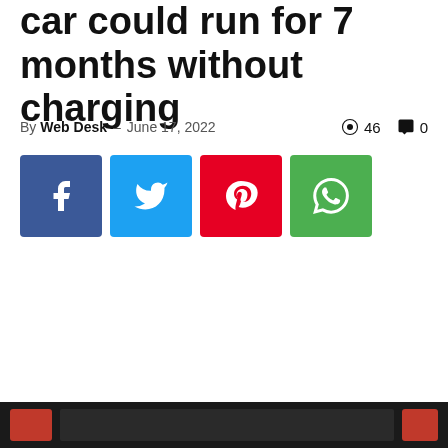car could run for 7 months without charging
By Web Desk - June 17, 2022   👁 46   💬 0
[Figure (infographic): Social share buttons: Facebook (blue), Twitter (light blue), Pinterest (red), WhatsApp (green)]
[Figure (screenshot): Video thumbnail strip at bottom of page, dark background with red thumbnail on left]